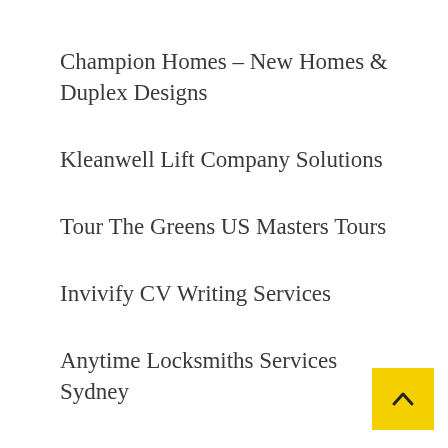Champion Homes – New Homes & Duplex Designs
Kleanwell Lift Company Solutions
Tour The Greens US Masters Tours
Invivify CV Writing Services
Anytime Locksmiths Services Sydney
Unified Energy Solar Panel Providers Adelaide